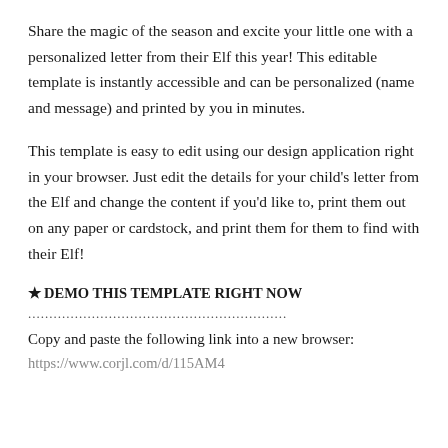Share the magic of the season and excite your little one with a personalized letter from their Elf this year! This editable template is instantly accessible and can be personalized (name and message) and printed by you in minutes.
This template is easy to edit using our design application right in your browser. Just edit the details for your child's letter from the Elf and change the content if you'd like to, print them out on any paper or cardstock, and print them for them to find with their Elf!
★DEMO THIS TEMPLATE RIGHT NOW
.............................................................
Copy and paste the following link into a new browser:
https://www.corjl.com/d/115AM4